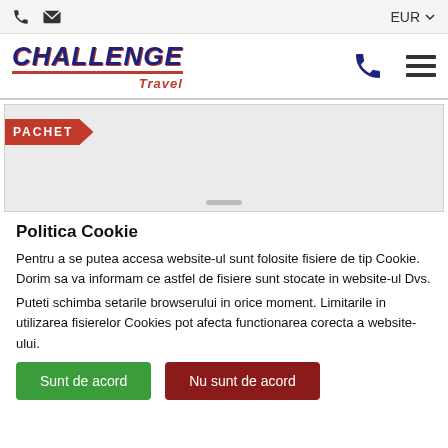EUR ▾
[Figure (logo): Challenge Travel logo with bold navy blue italic text and red underline, with 'Travel' in red italic below]
[Figure (other): PACHET ribbon label in red on a light gray image placeholder area]
Politica Cookie
Pentru a se putea accesa website-ul sunt folosite fisiere de tip Cookie. Dorim sa va informam ce astfel de fisiere sunt stocate in website-ul Dvs.
Puteti schimba setarile browserului in orice moment. Limitarile in utilizarea fisierelor Cookies pot afecta functionarea corecta a website-ului.
Sunt de acord
Nu sunt de acord